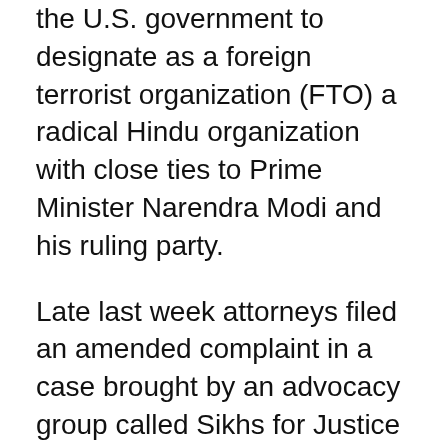the U.S. government to designate as a foreign terrorist organization (FTO) a radical Hindu organization with close ties to Prime Minister Narendra Modi and his ruling party.
Late last week attorneys filed an amended complaint in a case brought by an advocacy group called Sikhs for Justice (SFJ) against Secretary of State John Kerry.
The amended document adds three additional plaintiffs, two Christians and a Muslim, who claim to be victims of a forced conversion campaign carried out by the Hindu group RSS (Rashtriya Swayamsevak